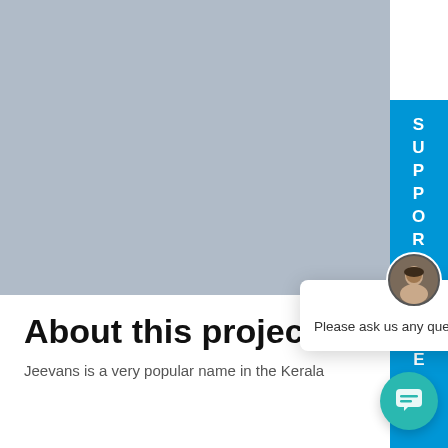[Figure (screenshot): Large light gray rectangle representing a hero image placeholder area]
[Figure (screenshot): Blue vertical sidebar tab with letters S U P P O R T stacked vertically and T below]
[Figure (screenshot): White chat popup box with a circular avatar photo showing a person's face, an X close button, and the message 'Please ask us any questions..']
About this project
Jeevans is a very popular name in the Kerala